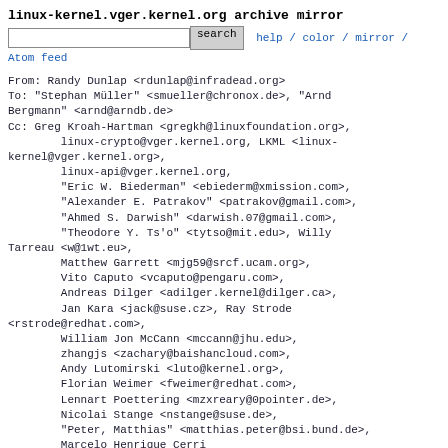linux-kernel.vger.kernel.org archive mirror
search  help / color / mirror / Atom feed
From: Randy Dunlap <rdunlap@infradead.org>
To: "Stephan Müller" <smueller@chronox.de>, "Arnd Bergmann" <arnd@arndb.de>
Cc: Greg Kroah-Hartman <gregkh@linuxfoundation.org>,
        linux-crypto@vger.kernel.org, LKML <linux-kernel@vger.kernel.org>,
        linux-api@vger.kernel.org,
        "Eric W. Biederman" <ebiederm@xmission.com>,
        "Alexander E. Patrakov" <patrakov@gmail.com>,
        "Ahmed S. Darwish" <darwish.07@gmail.com>,
        "Theodore Y. Ts'o" <tytso@mit.edu>, Willy Tarreau <w@1wt.eu>,
        Matthew Garrett <mjg59@srcf.ucam.org>,
        Vito Caputo <vcaputo@pengaru.com>,
        Andreas Dilger <adilger.kernel@dilger.ca>,
        Jan Kara <jack@suse.cz>, Ray Strode <rstrode@redhat.com>,
        William Jon McCann <mccann@jhu.edu>,
        zhangjs <zachary@baishancloud.com>,
        Andy Lutomirski <luto@kernel.org>,
        Florian Weimer <fweimer@redhat.com>,
        Lennart Poettering <mzxreary@0pointer.de>,
        Nicolai Stange <nstange@suse.de>,
        "Peter, Matthias" <matthias.peter@bsi.bund.de>,
        Marcelo Henrique Cerri